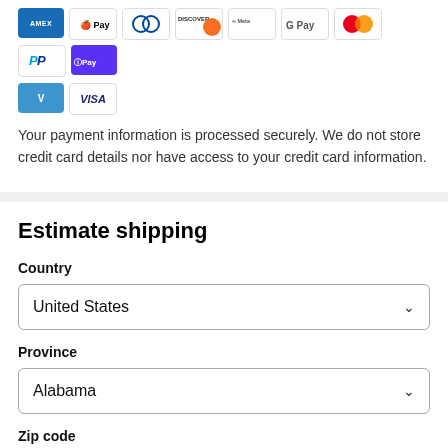[Figure (other): Row of payment method icons: American Express, Apple Pay, Diners Club, Discover, Meta Pay, Google Pay, Mastercard, PayPal, Shop Pay, Venmo, Visa]
Your payment information is processed securely. We do not store credit card details nor have access to your credit card information.
Estimate shipping
Country
United States
Province
Alabama
Zip code